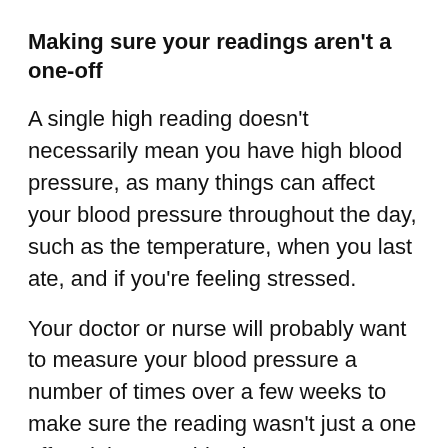Making sure your readings aren't a one-off
A single high reading doesn't necessarily mean you have high blood pressure, as many things can affect your blood pressure throughout the day, such as the temperature, when you last ate, and if you're feeling stressed.
Your doctor or nurse will probably want to measure your blood pressure a number of times over a few weeks to make sure the reading wasn't just a one off and that your blood pressure stays high over time.
Read about how high blood pressure is diagnosed